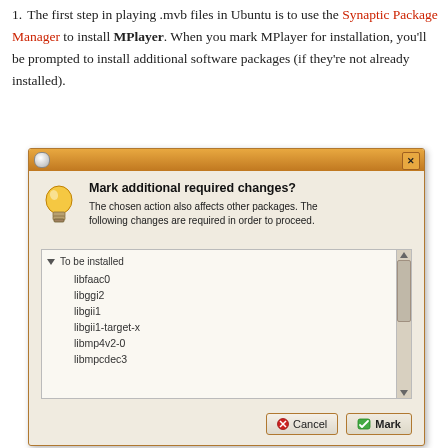The first step in playing .mvb files in Ubuntu is to use the Synaptic Package Manager to install MPlayer. When you mark MPlayer for installation, you'll be prompted to install additional software packages (if they're not already installed).
[Figure (screenshot): Ubuntu Synaptic Package Manager dialog: 'Mark additional required changes?' with a lightbulb icon, description text about chosen action affecting other packages, a scrollable list of packages to be installed (libfaac0, libggi2, libgii1, libgii1-target-x, libmp4v2-0, libmpcdec3), and Cancel/Mark buttons.]